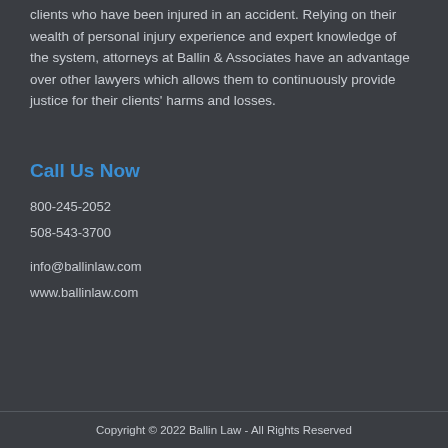clients who have been injured in an accident. Relying on their wealth of personal injury experience and expert knowledge of the system, attorneys at Ballin & Associates have an advantage over other lawyers which allows them to continuously provide justice for their clients' harms and losses.
Call Us Now
800-245-2052
508-543-3700
info@ballinlaw.com
www.ballinlaw.com
Copyright © 2022 Ballin Law - All Rights Reserved